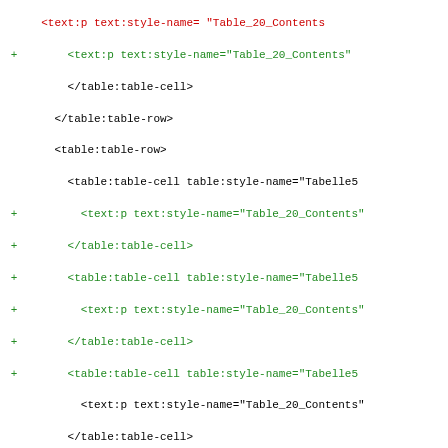Diff view of XML code showing table:table-cell and text:p elements with Table_20_Contents style, with added lines marked by + in green and existing lines in black, one red line at top (truncated).